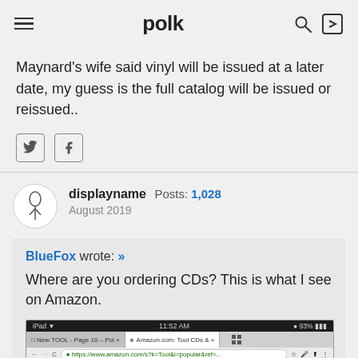polk
Maynard's wife said vinyl will be issued at a later date, my guess is the full catalog will be issued or reissued..
displayname  Posts: 1,028  August 2019
BlueFox wrote: » Where are you ordering CDs? This is what I see on Amazon.
[Figure (screenshot): Mobile browser screenshot showing Amazon.com page for Tool CDs with tabs, URL bar, and navigation menu showing Amazon Music Unlimited, Prime Music, CDs & Vinyl, Download Sto...]